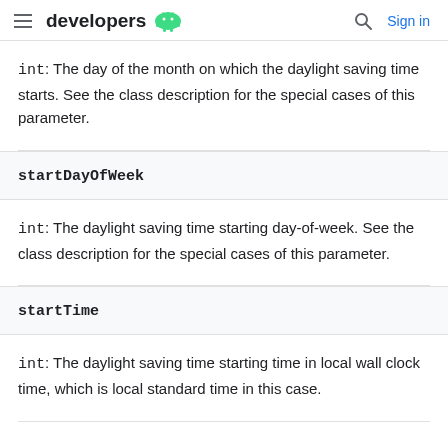developers
int: The day of the month on which the daylight saving time starts. See the class description for the special cases of this parameter.
startDayOfWeek
int: The daylight saving time starting day-of-week. See the class description for the special cases of this parameter.
startTime
int: The daylight saving time starting time in local wall clock time, which is local standard time in this case.